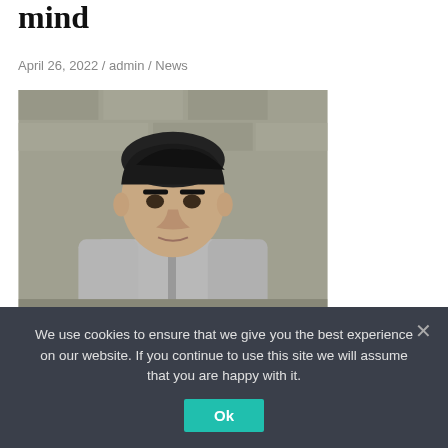mind
April 26, 2022 / admin / News
[Figure (photo): CCTV image of a young man with dark hair wearing a grey zip-up jacket, standing outdoors against a stone wall background.]
Manhunt for robber from koln: on tuesday (23. January 2018) an unknown man approached a mother and her
We use cookies to ensure that we give you the best experience on our website. If you continue to use this site we will assume that you are happy with it.